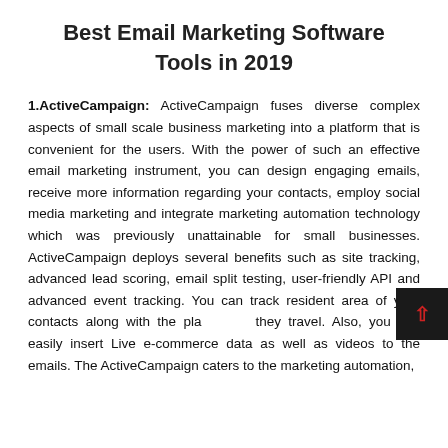Best Email Marketing Software Tools in 2019
1.ActiveCampaign: ActiveCampaign fuses diverse complex aspects of small scale business marketing into a platform that is convenient for the users. With the power of such an effective email marketing instrument, you can design engaging emails, receive more information regarding your contacts, employ social media marketing and integrate marketing automation technology which was previously unattainable for small businesses. ActiveCampaign deploys several benefits such as site tracking, advanced lead scoring, email split testing, user-friendly API and advanced event tracking. You can track resident area of your contacts along with the places they travel. Also, you can easily insert Live e-commerce data as well as videos to the emails. The ActiveCampaign caters to the marketing automation,